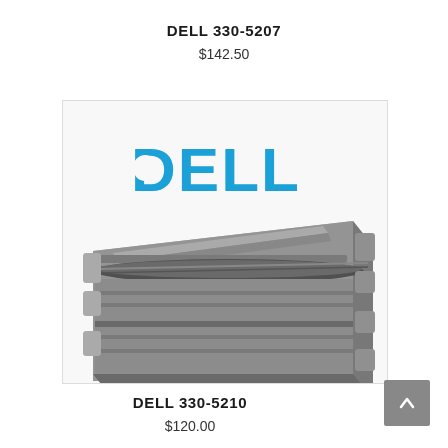DELL 330-5207
$142.50
[Figure (photo): Photo of a Dell toner cartridge (model 330-5207), grey plastic cartridge with a metallic roller, shown at an angle with Dell logo in blue at top.]
DELL 330-5210
$120.00